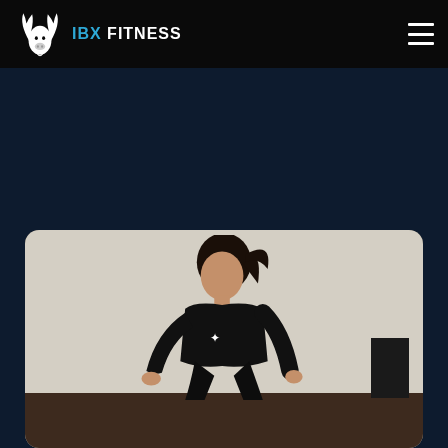[Figure (logo): IBX Fitness logo: white goat head icon above text 'IBX FITNESS' where IBX is in blue and FITNESS is in white]
[Figure (photo): A woman wearing an IBX Fitness branded black t-shirt in a fitness pose (leaning forward, hands near the floor) in a studio room with beige walls and dark hardwood floors]